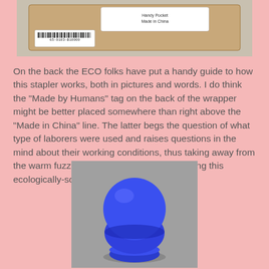[Figure (photo): Photo of the back of a stapler packaging, cardboard wrapper with label showing barcode and 'Made in China' text]
On the back the ECO folks have put a handy guide to how this stapler works, both in pictures and words. I do think the "Made by Humans" tag on the back of the wrapper might be better placed somewhere than right above the "Made in China" line. The latter begs the question of what type of laborers were used and raises questions in the mind about their working conditions, thus taking away from the warm fuzzies you're supposed to feel using this ecologically-sound stapler.
[Figure (photo): Photo of a round blue ECO stapler device sitting on a grey surface, mushroom-shaped with a domed top]